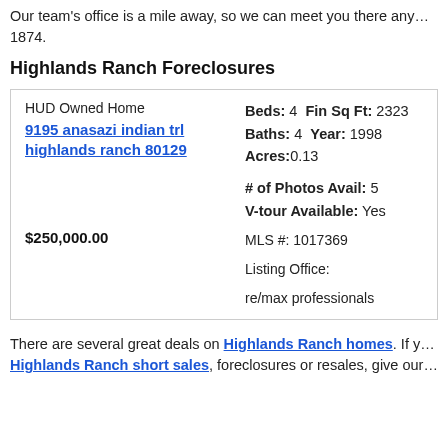Our team's office is a mile away, so we can meet you there anytime at 303-... 1874.
Highlands Ranch Foreclosures
| HUD Owned Home | Beds: 4 Fin Sq Ft: 2323 |
| 9195 anasazi indian trl highlands ranch 80129 | Baths: 4 Year: 1998 |
|  | Acres: 0.13 |
|  | # of Photos Avail: 5 |
|  | V-tour Available: Yes |
|  | MLS #: 1017369 |
|  | Listing Office: re/max professionals |
| $250,000.00 |  |
There are several great deals on Highlands Ranch homes. If you are interested in Highlands Ranch short sales, foreclosures or resales, give our...